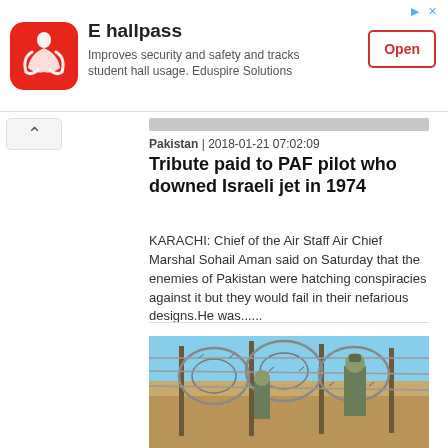[Figure (logo): E hallpass app advertisement banner with Yelp-style red logo, title 'E hallpass', subtitle 'Improves security and safety and tracks student hall usage. Eduspire Solutions', and an Open button]
Pakistan  |  2018-01-21 07:02:09
Tribute paid to PAF pilot who downed Israeli jet in 1974
KARACHI: Chief of the Air Staff Air Chief Marshal Sohail Aman said on Saturday that the enemies of Pakistan were hatching conspiracies against it but they would fail in their nefarious designs.He was......
[Figure (photo): Soldiers in military camouflage uniform walking through barbed wire fence at a border area, sandy terrain and blue sky visible in background]